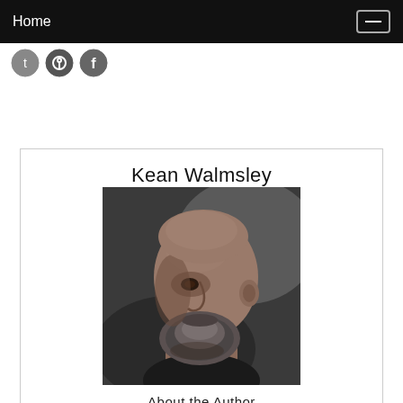Home
[Figure (other): Social media icons: Twitter, Pinterest, Facebook]
Kean Walmsley
[Figure (photo): Professional headshot of Kean Walmsley, a bald man with a beard, photographed against a dark background, facing left in profile.]
About the Author